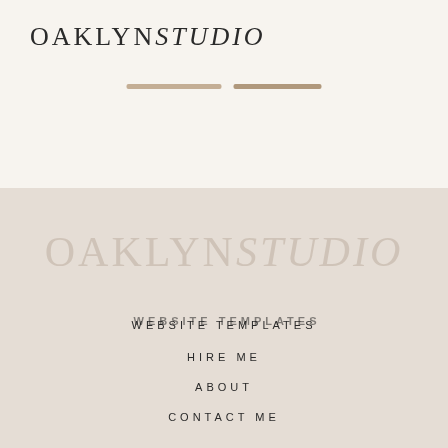OAKLYN STUDIO
[Figure (other): Two short horizontal decorative divider lines in tan/beige color]
[Figure (other): Large faded background watermark logo text reading OAKLYN STUDIO in light beige on tan background]
WEBSITE TEMPLATES
HIRE ME
ABOUT
CONTACT ME